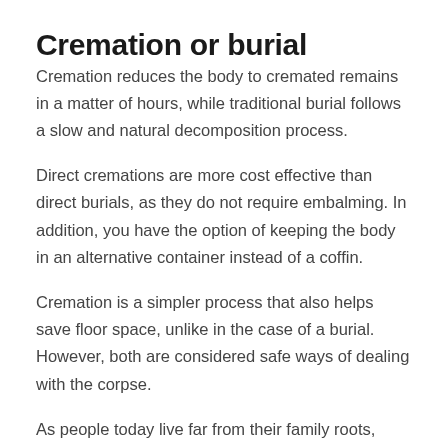Cremation or burial
Cremation reduces the body to cremated remains in a matter of hours, while traditional burial follows a slow and natural decomposition process.
Direct cremations are more cost effective than direct burials, as they do not require embalming. In addition, you have the option of keeping the body in an alternative container instead of a coffin.
Cremation is a simpler process that also helps save floor space, unlike in the case of a burial. However, both are considered safe ways of dealing with the corpse.
As people today live far from their family roots, cremation provides more flexibility in terms of